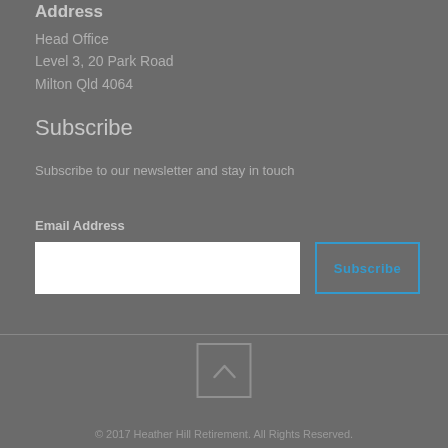Address
Head Office
Level 3, 20 Park Road
Milton Qld 4064
Subscribe
Subscribe to our newsletter and stay in touch
Email Address
[Figure (other): Email address input field and Subscribe button]
[Figure (other): Back to top button with upward chevron arrow]
© 2017 Heather Hill Retirement. All Rights Reserved.